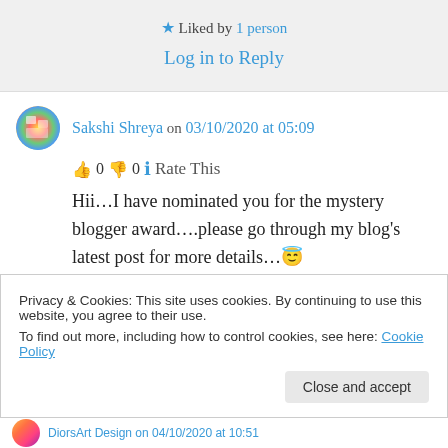★ Liked by 1 person
Log in to Reply
Sakshi Shreya on 03/10/2020 at 05:09
👍 0 👎 0 ℹ Rate This
Hii…I have nominated you for the mystery blogger award….please go through my blog's latest post for more details…😇
Privacy & Cookies: This site uses cookies. By continuing to use this website, you agree to their use.
To find out more, including how to control cookies, see here: Cookie Policy
Close and accept
DiorsArt Design on 04/10/2020 at 10:51